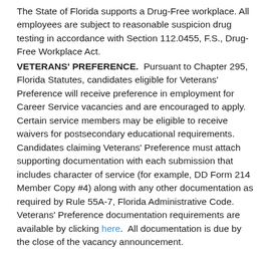The State of Florida supports a Drug-Free workplace. All employees are subject to reasonable suspicion drug testing in accordance with Section 112.0455, F.S., Drug-Free Workplace Act.
VETERANS' PREFERENCE. Pursuant to Chapter 295, Florida Statutes, candidates eligible for Veterans' Preference will receive preference in employment for Career Service vacancies and are encouraged to apply. Certain service members may be eligible to receive waivers for postsecondary educational requirements. Candidates claiming Veterans' Preference must attach supporting documentation with each submission that includes character of service (for example, DD Form 214 Member Copy #4) along with any other documentation as required by Rule 55A-7, Florida Administrative Code. Veterans' Preference documentation requirements are available by clicking here. All documentation is due by the close of the vacancy announcement.